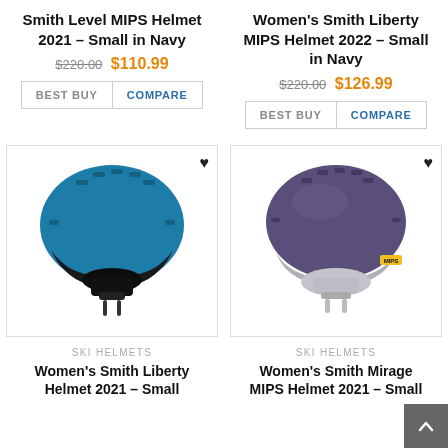Smith Level MIPS Helmet 2021 – Small in Navy
$220.00 $110.99
Women's Smith Liberty MIPS Helmet 2022 – Small in Navy
$220.00 $126.99
[Figure (photo): Blue Smith ski helmet (Women's Smith Liberty Helmet 2021 Small)]
[Figure (photo): Purple/navy Women's Smith Mirage MIPS Helmet 2021 Small]
SKI HELMETS
Women's Smith Liberty Helmet 2021 – Small
SKI HELMETS
Women's Smith Mirage MIPS Helmet 2021 – Small